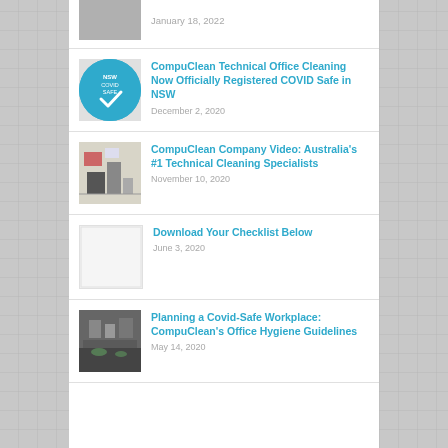January 18, 2022
CompuClean Technical Office Cleaning Now Officially Registered COVID Safe in NSW
December 2, 2020
CompuClean Company Video: Australia's #1 Technical Cleaning Specialists
November 10, 2020
Download Your Checklist Below
June 3, 2020
Planning a Covid-Safe Workplace: CompuClean's Office Hygiene Guidelines
May 14, 2020